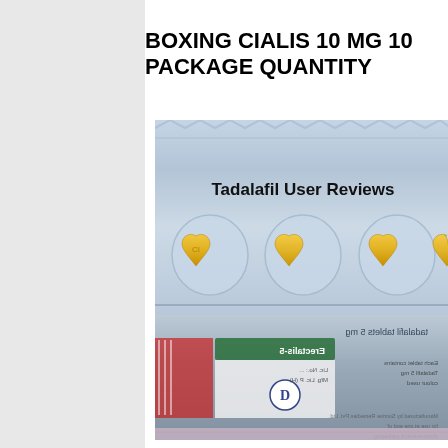BOXING CIALIS 10 MG 10 PACKAGE QUANTITY
[Figure (photo): Two blister packs of Cialis (tadalafil) 10 mg tablets. Top pack shows silver/blue foil blister strip with four yellow heart-shaped tablets visible. Text 'Tadalafil User Reviews' overlaid in bold. Bottom pack shows back of blister strip (reversed/mirrored text) with Erectalis-5 branding, colored labels, and pharmaceutical packaging details.]